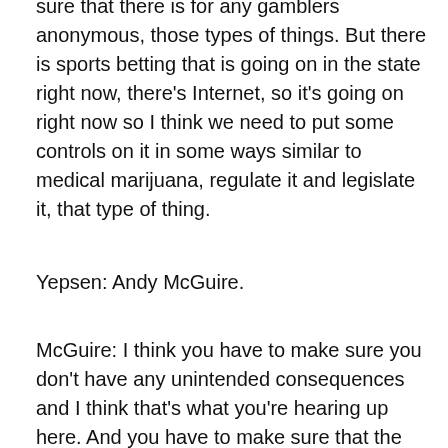sure that there is for any gamblers anonymous, those types of things. But there is sports betting that is going on in the state right now, there's Internet, so it's going on right now so I think we need to put some controls on it in some ways similar to medical marijuana, regulate it and legislate it, that type of thing.
Yepsen: Andy McGuire.
McGuire: I think you have to make sure you don't have any unintended consequences and I think that's what you're hearing up here. And you have to make sure that the revenues, that the state